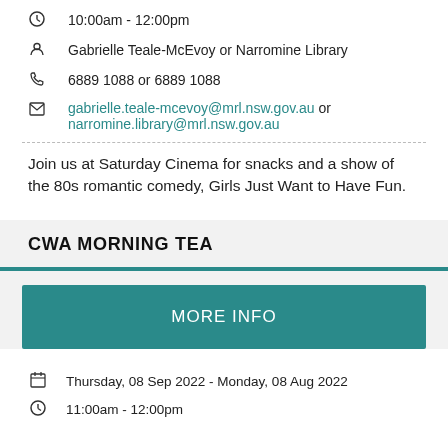10:00am - 12:00pm
Gabrielle Teale-McEvoy or Narromine Library
6889 1088 or 6889 1088
gabrielle.teale-mcevoy@mrl.nsw.gov.au or narromine.library@mrl.nsw.gov.au
Join us at Saturday Cinema for snacks and a show of the 80s romantic comedy, Girls Just Want to Have Fun.
CWA MORNING TEA
MORE INFO
Thursday, 08 Sep 2022 - Monday, 08 Aug 2022
11:00am - 12:00pm